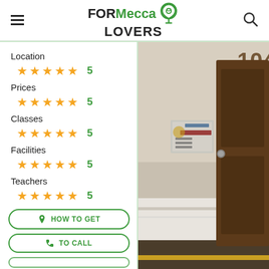FOR Mecca LOVERS
Location ★★★★★ 5
Prices ★★★★★ 5
Classes ★★★★★ 5
Facilities ★★★★★ 5
Teachers ★★★★★ 5
[Figure (photo): Photo of a door numbered 104 with an Arabic sign/plaque, wood door with marble floor.]
HOW TO GET
TO CALL